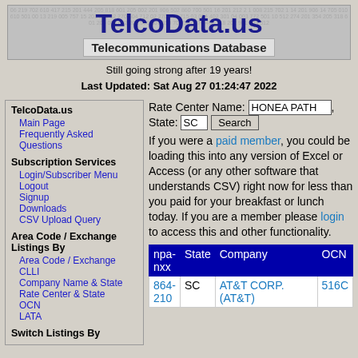[Figure (logo): TelcoData.us banner logo with phone number background and 'Telecommunications Database' subtitle]
Still going strong after 19 years!
Last Updated: Sat Aug 27 01:24:47 2022
TelcoData.us
Main Page
Frequently Asked Questions
Subscription Services
Login/Subscriber Menu
Logout
Signup
Downloads
CSV Upload Query
Area Code / Exchange Listings By
Area Code / Exchange
CLLI
Company Name & State
Rate Center & State
OCN
LATA
Switch Listings By
Rate Center Name: HONEA PATH , State: SC Search
If you were a paid member, you could be loading this into any version of Excel or Access (or any other software that understands CSV) right now for less than you paid for your breakfast or lunch today. If you are a member please login to access this and other functionality.
| npa-nxx | State | Company | OCN |
| --- | --- | --- | --- |
| 864-210 | SC | AT&T CORP. (AT&T) | 516C |